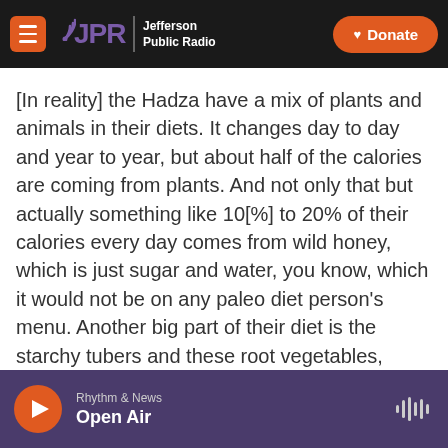JPR Jefferson Public Radio | Donate
[In reality] the Hadza have a mix of plants and animals in their diets. It changes day to day and year to year, but about half of the calories are coming from plants. And not only that but actually something like 10[%] to 20% of their calories every day comes from wild honey, which is just sugar and water, you know, which it would not be on any paleo diet person's menu. Another big part of their diet is the starchy tubers and these root vegetables, which you often aren't allowed to eat on some version of the paleo diet.
Rhythm & News | Open Air